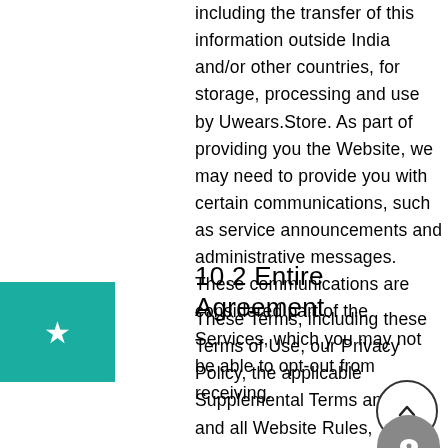including the transfer of this information outside India and/or other countries, for storage, processing and use by Uwears.Store. As part of providing you the Website, we may need to provide you with certain communications, such as service announcements and administrative messages. These communications are considered part of the Services, which you may not be able to opt-out from receiving.
10.2 Entire Agreement
These Terms, including these Terms of Use, our Privacy Policy, the applicable Supplemental Terms and any and all Website Rules, constitute the entire and exclusive understanding and agreement between you and Uwears.Store regarding your access and use of the Website and supersede and